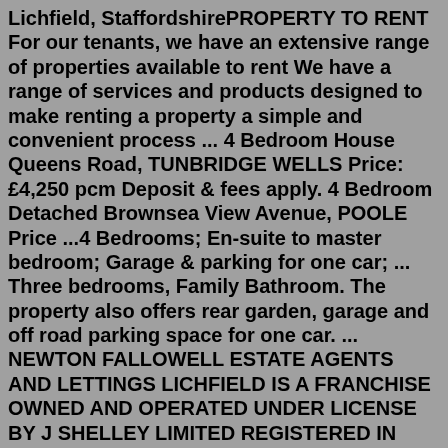Lichfield, StaffordshirePROPERTY TO RENT For our tenants, we have an extensive range of properties available to rent We have a range of services and products designed to make renting a property a simple and convenient process ... 4 Bedroom House Queens Road, TUNBRIDGE WELLS Price: £4,250 pcm Deposit & fees apply. 4 Bedroom Detached Brownsea View Avenue, POOLE Price ...4 Bedrooms; En-suite to master bedroom; Garage & parking for one car; ... Three bedrooms, Family Bathroom. The property also offers rear garden, garage and off road parking space for one car. ... NEWTON FALLOWELL ESTATE AGENTS AND LETTINGS LICHFIELD IS A FRANCHISE OWNED AND OPERATED UNDER LICENSE BY J SHELLEY LIMITED REGISTERED IN ENGLAND NO ...Bedrooms. 1. 8. Show 10 results. SearchAgent - completely free: Receive emails when homes matching your requirements are listed. Filter search ... England; Staffordshire; Lichfield; Show 10 results. Rent a home in Lichfield – all property listings...